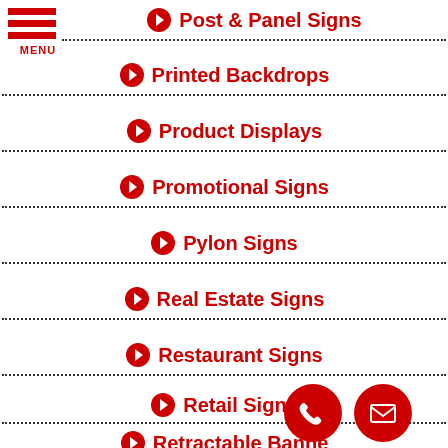[Figure (logo): Hamburger menu icon with three red horizontal bars and MENU label in red]
Post & Panel Signs
Printed Backdrops
Product Displays
Promotional Signs
Pylon Signs
Real Estate Signs
Restaurant Signs
Retail Signs
Retractable Banners
[Figure (other): Red circular phone call button icon]
[Figure (other): Red circular email/envelope button icon]